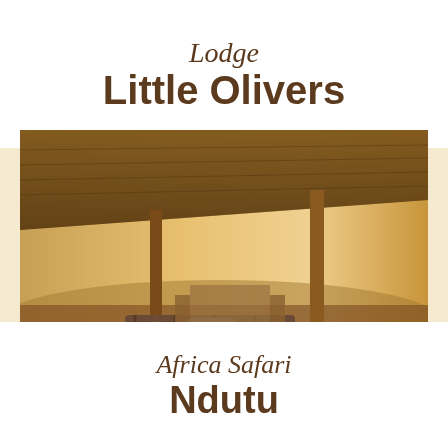Lodge
Little Olivers
[Figure (photo): Interior of an open-air safari lodge with thatched roof, wooden furniture including striped sofas and armchairs, overlooking a scenic African savanna at sunset with warm golden light]
Africa Safari
Ndutu